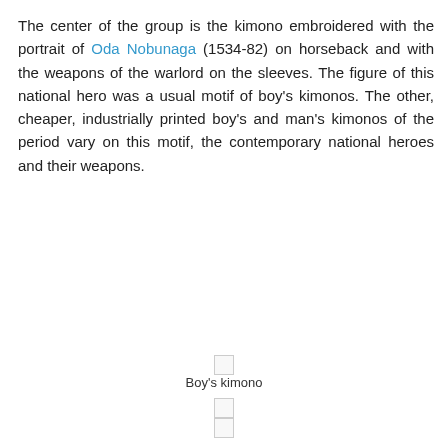The center of the group is the kimono embroidered with the portrait of Oda Nobunaga (1534-82) on horseback and with the weapons of the warlord on the sleeves. The figure of this national hero was a usual motif of boy's kimonos. The other, cheaper, industrially printed boy's and man's kimonos of the period vary on this motif, the contemporary national heroes and their weapons.
[Figure (photo): Thumbnail image placeholder for Boy's kimono with small square icon]
Boy's kimono
[Figure (photo): Thumbnail image placeholder]
[Figure (photo): Thumbnail image placeholder]
[Figure (photo): Thumbnail image placeholder]
[Figure (photo): Thumbnail image placeholder for Boy's kimono]
Boy's kimono
[Figure (photo): Thumbnail image placeholder]
[Figure (photo): Thumbnail image placeholder]
[Figure (photo): Thumbnail image placeholder (partial)]